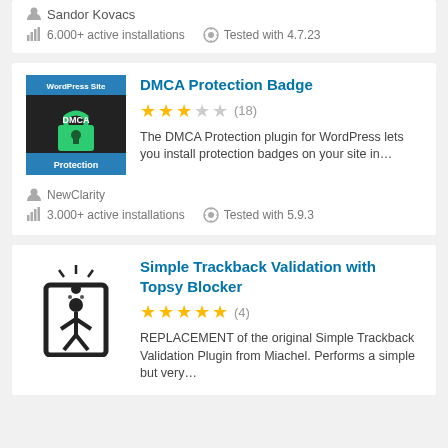Sandor Kovacs
6.000+ active installations   Tested with 4.7.23
[Figure (illustration): DMCA Protection Badge plugin logo: dark background with WordPress Site header, green padlock DMCA icon, and Protection footer in blue]
DMCA Protection Badge
3 out of 5 stars (18)
The DMCA Protection plugin for WordPress lets you install protection badges on your site in...
NewClarity
3.000+ active installations   Tested with 5.9.3
[Figure (illustration): Simple Trackback Validation with Topsy Blocker plugin logo: stick figure person inside a frame with alert symbol above head]
Simple Trackback Validation with Topsy Blocker
5 out of 5 stars (4)
REPLACEMENT of the original Simple Trackback Validation Plugin from Miachel. Performs a simple but very...